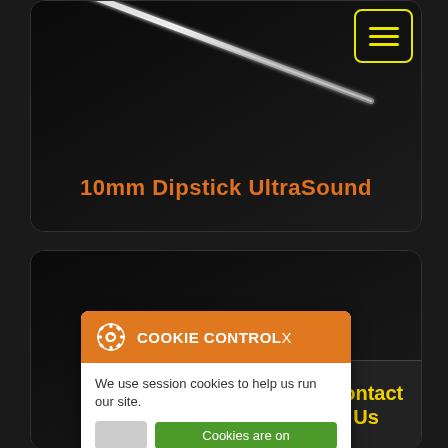[Figure (photo): Dark product card showing a metallic dipstick/probe against black background]
10mm Dipstick UltraSound
[Figure (screenshot): Cookie Control popup overlay with orange header, toggle switch set to on (green), and read More link]
COOKIE CONTROL X
We use session cookies to help us run our site.
Cookies are on
read More
Contact Us